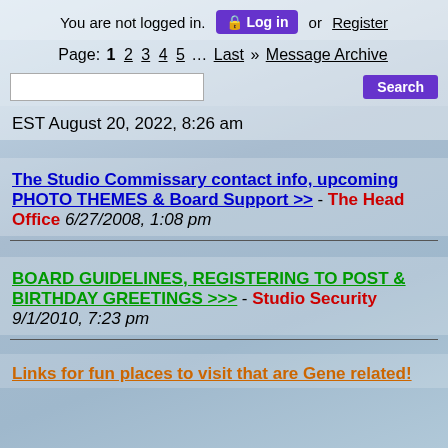You are not logged in. Log in or Register
Page: 1 2 3 4 5 … Last » Message Archive
EST August 20, 2022, 8:26 am
The Studio Commissary contact info, upcoming PHOTO THEMES & Board Support >> - The Head Office 6/27/2008, 1:08 pm
BOARD GUIDELINES, REGISTERING TO POST & BIRTHDAY GREETINGS >>> - Studio Security 9/1/2010, 7:23 pm
Links for fun places to visit that are Gene related!